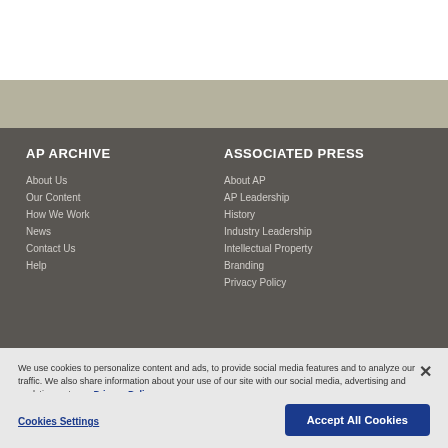AP ARCHIVE
About Us
Our Content
How We Work
News
Contact Us
Help
ASSOCIATED PRESS
About AP
AP Leadership
History
Industry Leadership
Intellectual Property
Branding
Privacy Policy
We use cookies to personalize content and ads, to provide social media features and to analyze our traffic. We also share information about your use of our site with our social media, advertising and analytics partners. Privacy Policy
Cookies Settings
Accept All Cookies